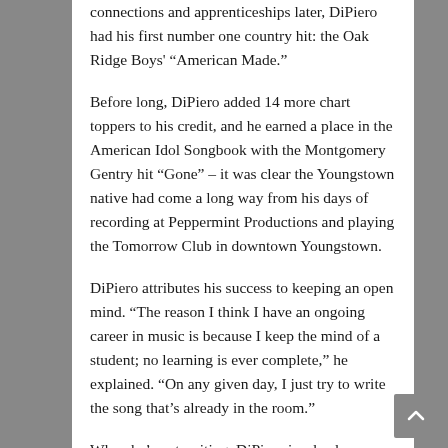connections and apprenticeships later, DiPiero had his first number one country hit: the Oak Ridge Boys' “American Made.”
Before long, DiPiero added 14 more chart toppers to his credit, and he earned a place in the American Idol Songbook with the Montgomery Gentry hit “Gone” – it was clear the Youngstown native had come a long way from his days of recording at Peppermint Productions and playing the Tomorrow Club in downtown Youngstown.
DiPiero attributes his success to keeping an open mind. “The reason I think I have an ongoing career in music is because I keep the mind of a student; no learning is ever complete,” he explained. “On any given day, I just try to write the song that’s already in the room.”
When he’s not writing, DiPiero is a leader among top